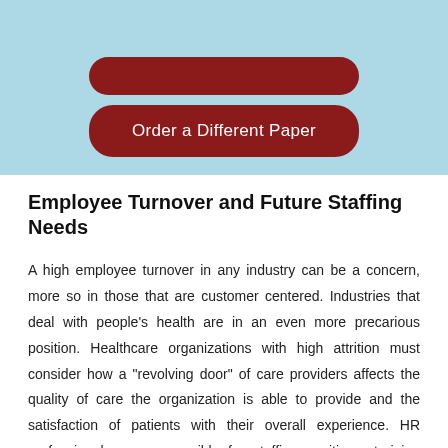[Figure (other): Light blue banner with two dark red rounded rectangle buttons. The lower button is labeled 'Order a Different Paper'.]
Employee Turnover and Future Staffing Needs
A high employee turnover in any industry can be a concern, more so in those that are customer centered. Industries that deal with people’s health are in an even more precarious position. Healthcare organizations with high attrition must consider how a “revolving door” of care providers affects the quality of care the organization is able to provide and the satisfaction of patients with their overall experience. HR professionals are responsible for staffing positions, training employees, providing